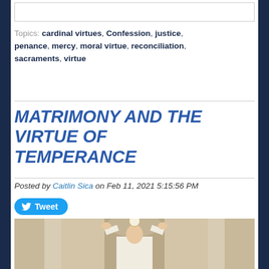Topics: cardinal virtues, Confession, justice, penance, mercy, moral virtue, reconciliation, sacraments, virtue
MATRIMONY AND THE VIRTUE OF TEMPERANCE
Posted by Caitlin Sica on Feb 11, 2021 5:15:56 PM
[Figure (photo): A priest elevating the Eucharist during Mass in a church setting]